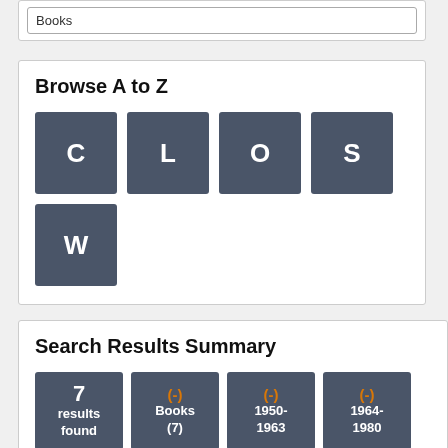Books
Browse A to Z
[Figure (other): Letter tiles for A to Z browse: C, L, O, S, W]
Search Results Summary
[Figure (other): Summary tiles: 7 results found, (-) Books (7), (-) 1950-1963, (-) 1964-1980]